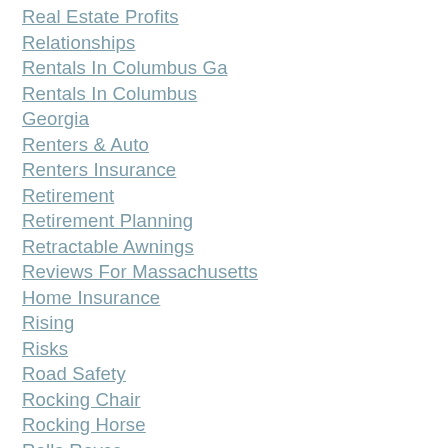Real Estate Profits
Relationships
Rentals In Columbus Ga
Rentals In Columbus Georgia
Renters & Auto
Renters Insurance
Retirement
Retirement Planning
Retractable Awnings
Reviews For Massachusetts Home Insurance
Rising
Risks
Road Safety
Rocking Chair
Rocking Horse
Rolls Royce
Safe Driving